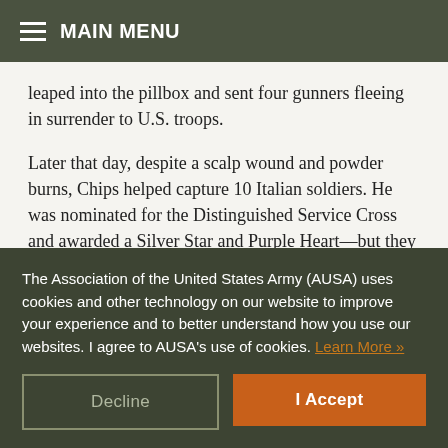MAIN MENU
leaped into the pillbox and sent four gunners fleeing in surrender to U.S. troops.
Later that day, despite a scalp wound and powder burns, Chips helped capture 10 Italian soldiers. He was nominated for the Distinguished Service Cross and awarded a Silver Star and Purple Heart—but they were subsequently revoked in accordance with Army regulations barring commendation of animals.
The Association of the United States Army (AUSA) uses cookies and other technology on our website to improve your experience and to better understand how you use our websites. I agree to AUSA's use of cookies. Learn More »